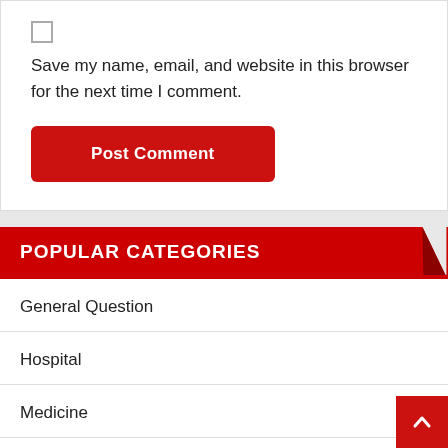Save my name, email, and website in this browser for the next time I comment.
Post Comment
POPULAR CATEGORIES
General Question
Hospital
Medicine